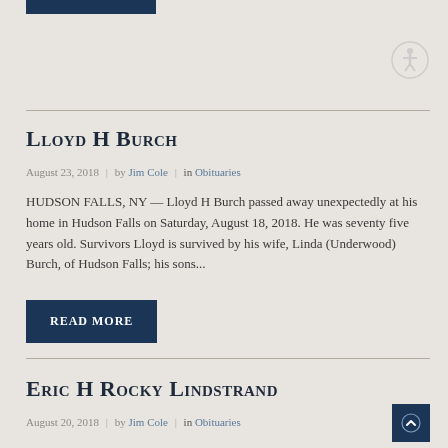Lloyd H Burch
August 23, 2018 | by Jim Cole | in Obituaries
HUDSON FALLS, NY — Lloyd H Burch passed away unexpectedly at his home in Hudson Falls on Saturday, August 18, 2018. He was seventy five years old. Survivors Lloyd is survived by his wife, Linda (Underwood) Burch, of Hudson Falls; his sons...
Eric H Rocky Lindstrand
August 20, 2018 | by Jim Cole | in Obituaries